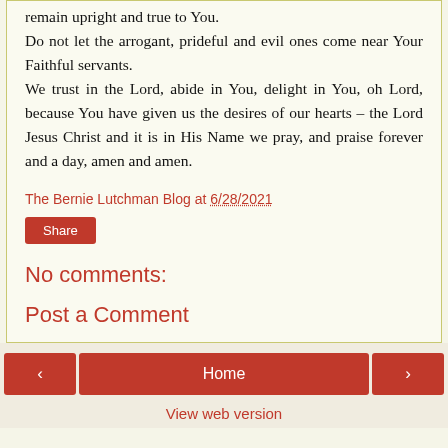remain upright and true to You.
Do not let the arrogant, prideful and evil ones come near Your Faithful servants.
We trust in the Lord, abide in You, delight in You, oh Lord, because You have given us the desires of our hearts – the Lord Jesus Christ and it is in His Name we pray, and praise forever and a day, amen and amen.
The Bernie Lutchman Blog at 6/28/2021
Share
No comments:
Post a Comment
< Home > View web version